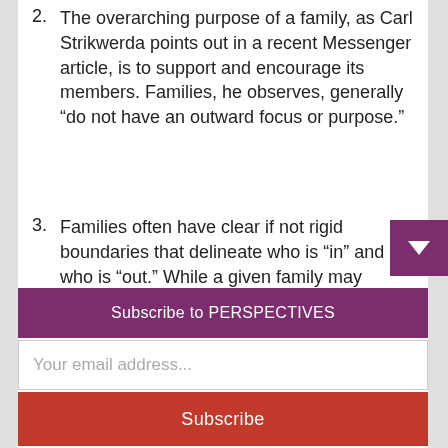2. The overarching purpose of a family, as Carl Strikwerda points out in a recent Messenger article, is to support and encourage its members. Families, he observes, generally “do not have an outward focus or purpose.”
3. Families often have clear if not rigid boundaries that delineate who is “in” and who is “out.” While a given family may demonstrate a profound gift of hospitality, it’s one thing to be hosted well and
Subscribe to PERSPECTIVES
Your email address...
Subscribe